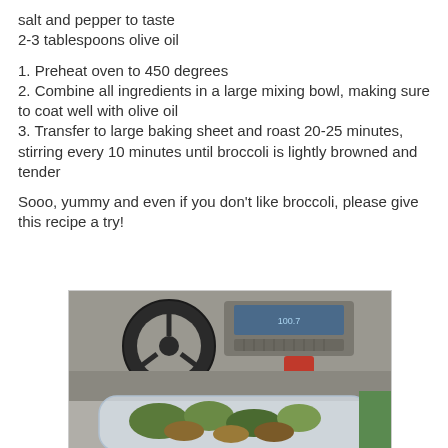salt and pepper to taste
2-3 tablespoons olive oil
1. Preheat oven to 450 degrees
2. Combine all ingredients in a large mixing bowl, making sure to coat well with olive oil
3. Transfer to large baking sheet and roast 20-25 minutes, stirring every 10 minutes until broccoli is lightly browned and tender
Sooo, yummy and even if you don't like broccoli, please give this recipe a try!
[Figure (photo): Photo taken inside a car showing the steering wheel and dashboard in the background, and a plastic container with roasted broccoli in the foreground.]